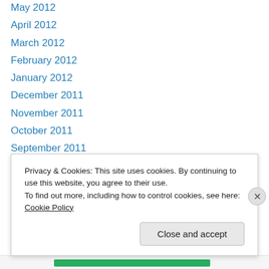May 2012
April 2012
March 2012
February 2012
January 2012
December 2011
November 2011
October 2011
September 2011
August 2011
July 2011
June 2011
May 2011
April 2011
Privacy & Cookies: This site uses cookies. By continuing to use this website, you agree to their use.
To find out more, including how to control cookies, see here: Cookie Policy
Close and accept